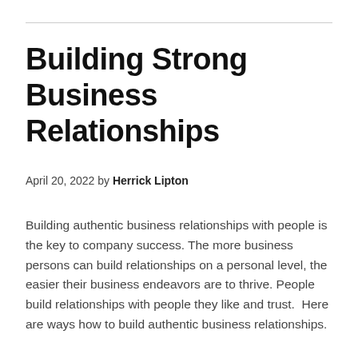Building Strong Business Relationships
April 20, 2022 by Herrick Lipton
Building authentic business relationships with people is the key to company success. The more business persons can build relationships on a personal level, the easier their business endeavors are to thrive. People build relationships with people they like and trust.  Here are ways how to build authentic business relationships.